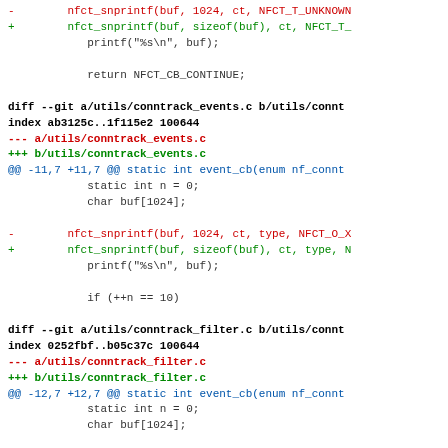Code diff showing changes to utils/conntrack_events.c and utils/conntrack_filter.c, replacing hardcoded buffer sizes with sizeof(buf)
[Figure (screenshot): Git diff output showing code changes in C source files]